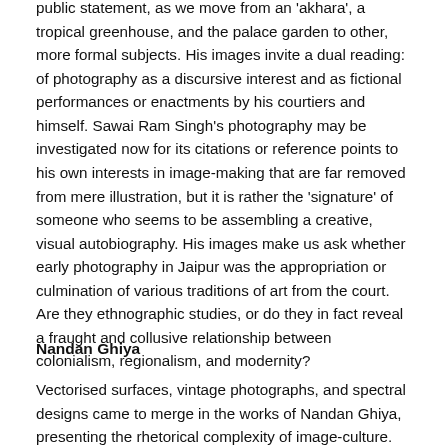public statement, as we move from an 'akhara', a tropical greenhouse, and the palace garden to other, more formal subjects. His images invite a dual reading: of photography as a discursive interest and as fictional performances or enactments by his courtiers and himself. Sawai Ram Singh's photography may be investigated now for its citations or reference points to his own interests in image-making that are far removed from mere illustration, but it is rather the 'signature' of someone who seems to be assembling a creative, visual autobiography. His images make us ask whether early photography in Jaipur was the appropriation or culmination of various traditions of art from the court. Are they ethnographic studies, or do they in fact reveal a fraught and collusive relationship between colonialism, regionalism, and modernity?
Nandan Ghiya
Vectorised surfaces, vintage photographs, and spectral designs came to merge in the works of Nandan Ghiya, presenting the rhetorical complexity of image-culture. With affiliation to regional